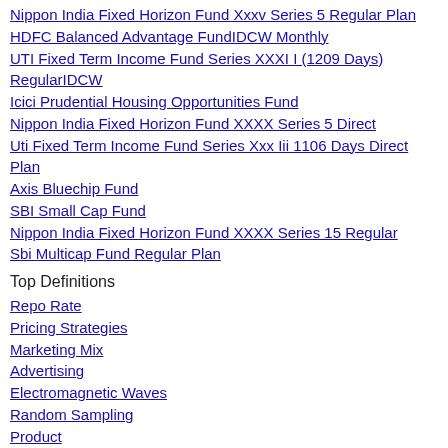Nippon India Fixed Horizon Fund Xxxv Series 5 Regular Plan
HDFC Balanced Advantage FundIDCW Monthly
UTI Fixed Term Income Fund Series XXXI I (1209 Days) RegularIDCW
Icici Prudential Housing Opportunities Fund
Nippon India Fixed Horizon Fund XXXX Series 5 Direct
Uti Fixed Term Income Fund Series Xxx Iii 1106 Days Direct Plan
Axis Bluechip Fund
SBI Small Cap Fund
Nippon India Fixed Horizon Fund XXXX Series 15 Regular
Sbi Multicap Fund Regular Plan
Top Definitions
Repo Rate
Pricing Strategies
Marketing Mix
Advertising
Electromagnetic Waves
Random Sampling
Product
Audit
E Learning
Personal Selling
Top Commodities